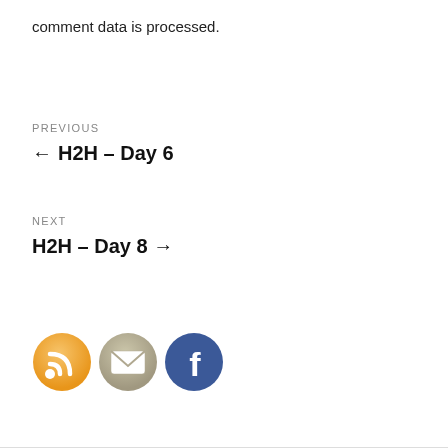comment data is processed.
PREVIOUS
← H2H – Day 6
NEXT
H2H – Day 8 →
[Figure (illustration): Three social media icons in a row: RSS feed icon (orange circle with white signal waves), Email icon (tan/grey circle with white envelope), Facebook icon (blue circle with white F logo)]